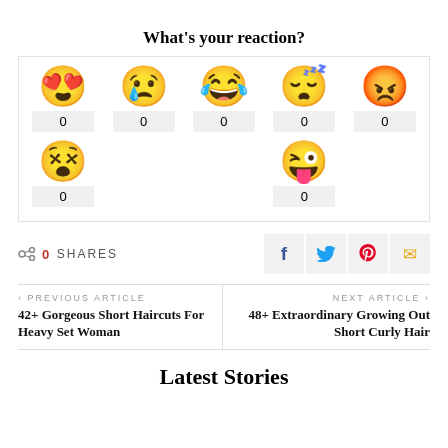What's your reaction?
[Figure (infographic): Emoji reaction widget with 7 emoji faces (love, sad, laugh, sleepy, angry, overwhelmed, silly tongue) each showing a count of 0]
0  SHARES
[Figure (infographic): Social share buttons: Facebook, Twitter, Pinterest, Email]
< PREVIOUS ARTICLE
42+ Gorgeous Short Haircuts For Heavy Set Woman
NEXT ARTICLE >
48+ Extraordinary Growing Out Short Curly Hair
Latest Stories